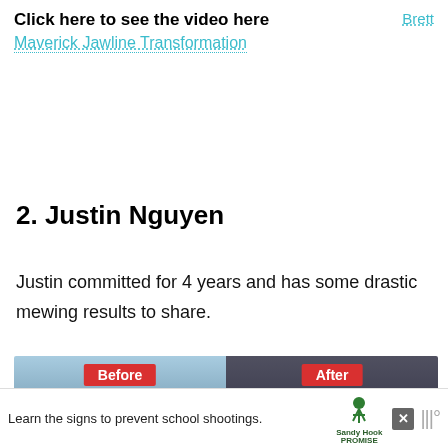Click here to see the video here   Brett
Maverick Jawline Transformation
2. Justin Nguyen
Justin committed for 4 years and has some drastic mewing results to share.
[Figure (photo): Before and after comparison photo of Justin Nguyen showing mewing results, with red Before and After labels]
Learn the signs to prevent school shootings. Sandy Hook Promise